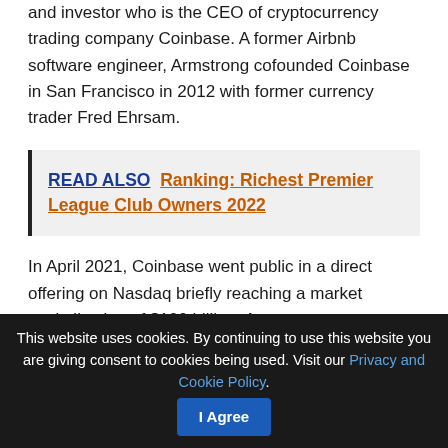and investor who is the CEO of cryptocurrency trading company Coinbase. A former Airbnb software engineer, Armstrong cofounded Coinbase in San Francisco in 2012 with former currency trader Fred Ehrsam.
READ ALSO  Ranking: Richest Premier League Club Owners 2022
In April 2021, Coinbase went public in a direct offering on Nasdaq briefly reaching a market capitalization of $100 billion. Armstrong owns a stake of about 19% in Coinbase, which earned $322 million in profits on nearly $1.3 billion in revenue in 2020.
This website uses cookies. By continuing to use this website you are giving consent to cookies being used. Visit our Privacy and Cookie Policy.